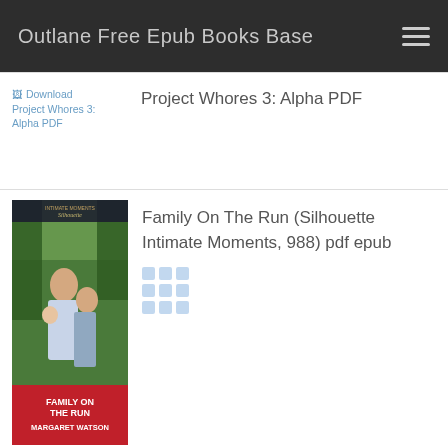Outlane Free Epub Books Base
[Figure (screenshot): Book listing row: broken image link for 'Download Project Whores 3: Alpha PDF' with link text visible, alongside title text 'Project Whores 3: Alpha PDF']
Project Whores 3: Alpha PDF
[Figure (photo): Book cover for 'Family On The Run' by Margaret Watson, Silhouette Intimate Moments series, showing a man and woman with a baby in a jungle setting]
Family On The Run (Silhouette Intimate Moments, 988) pdf epub
[Figure (photo): Book cover for Eminem (Hip-Hop Stars), showing 'EMINEM' text on a gold/brown background]
Eminem (Hip-Hop Stars) pdf